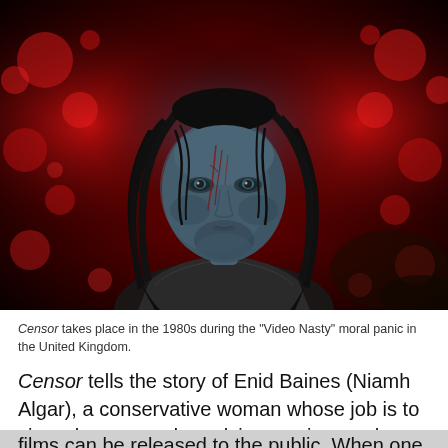[Figure (photo): A still from the horror film 'Censor' showing a young woman with blood on her face and long dark hair, set against a dark red blurred background. The lighting gives her face a cold blue tint.]
Censor takes place in the 1980s during the "Video Nasty" moral panic in the United Kingdom.
Censor tells the story of Enid Baines (Niamh Algar), a conservative woman whose job is to view obscene and repulsive movies so she and her coworkers can recommend what cuts need to be made before the films can be released to the public. When one of the movies Enid screens contains a scene way too close